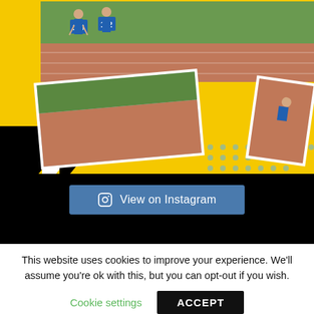[Figure (photo): Sports/athletics collage showing multiple track and field athletes with bib numbers (139, 142, 140), running on a red track, with a yellow and black graphic background. Multiple overlapping photos showing relay runners, sprinters at the start block, and other athletes.]
View on Instagram
This website uses cookies to improve your experience. We'll assume you're ok with this, but you can opt-out if you wish.
Cookie settings
ACCEPT